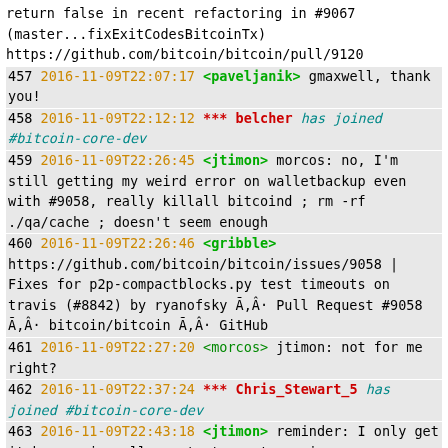return false  in recent refactoring in #9067 (master...fixExitCodesBitcoinTx) https://github.com/bitcoin/bitcoin/pull/9120
457 2016-11-09T22:07:17 <paveljanik> gmaxwell, thank you!
458 2016-11-09T22:12:12 *** belcher has joined #bitcoin-core-dev
459 2016-11-09T22:26:45 <jtimon> morcos: no, I'm still getting my weird error on walletbackup even with #9058, really killall bitcoind ; rm -rf ./qa/cache ; doesn't seem enough
460 2016-11-09T22:26:46 <gribble> https://github.com/bitcoin/bitcoin/issues/9058 | Fixes for p2p-compactblocks.py test timeouts on travis (#8842) by ryanofsky Ã,Â· Pull Request #9058 Ã,Â· bitcoin/bitcoin Ã,Â· GitHub
461 2016-11-09T22:27:20 <morcos> jtimon: not for me right?
462 2016-11-09T22:37:24 *** Chris_Stewart_5 has joined #bitcoin-core-dev
463 2016-11-09T22:43:18 <jtimon> reminder: I only get it by running all rpc tests, not running walletbackupt individually
464 2016-11-09T22:43:48 <jtimon> you told me 9058 may help the other day, but it seems is unrelated :(
465 2016-11-09T22:46:03 <jtimon> I'm locally getting errors on your branch, but I was getting them already and at this point I'm just doing something wrong with